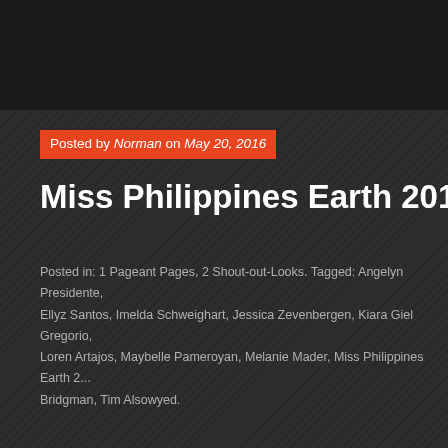[Figure (screenshot): Dark top image area, partially cropped]
Posted by Norman on May 20, 2016
Miss Philippines Earth 2016: My Ru...
Posted in: 1 Pageant Pages, 2 Shout-out-Looks. Tagged: Angelyn Presidente, Ellyz Santos, Imelda Schweighart, Jessica Zevenbergen, Kiara Giel Gregorio, Loren Artajos, Maybelle Pameroyan, Melanie Mader, Miss Philippines Earth 2..., Bridgman, Tim Alsowyed.
[Figure (infographic): 4.5 star rating with info icon and 2 Votes text]
[Figure (screenshot): DuckDuckGo advertisement banner: Search, browse, and email with more privacy. All in One Free App]